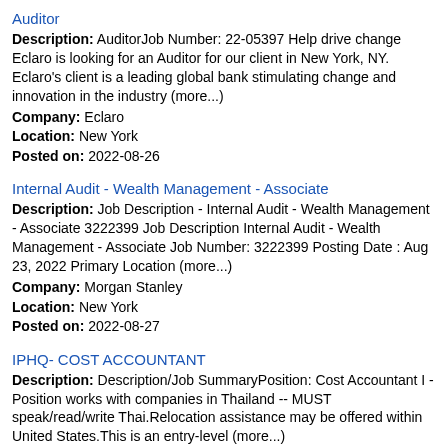Auditor
Description: AuditorJob Number: 22-05397 Help drive change Eclaro is looking for an Auditor for our client in New York, NY. Eclaro's client is a leading global bank stimulating change and innovation in the industry (more...)
Company: Eclaro
Location: New York
Posted on: 2022-08-26
Internal Audit - Wealth Management - Associate
Description: Job Description - Internal Audit - Wealth Management - Associate 3222399 Job Description Internal Audit - Wealth Management - Associate Job Number: 3222399 Posting Date : Aug 23, 2022 Primary Location (more...)
Company: Morgan Stanley
Location: New York
Posted on: 2022-08-27
IPHQ- COST ACCOUNTANT
Description: Description/Job SummaryPosition: Cost Accountant I - Position works with companies in Thailand -- MUST speak/read/write Thai.Relocation assistance may be offered within United States.This is an entry-level (more...)
Company: Inteplast Group
Location: Livingston
Posted on: 2022-08-19